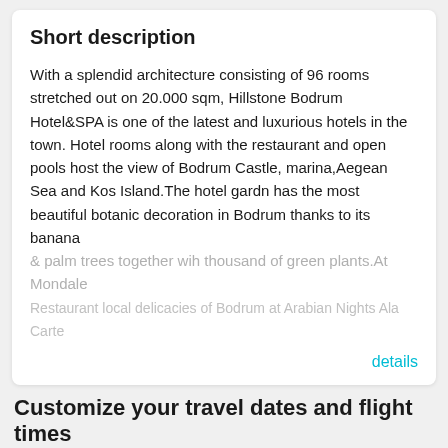Short description
With a splendid architecture consisting of 96 rooms stretched out on 20.000 sqm, Hillstone Bodrum Hotel&SPA is one of the latest and luxurious hotels in the town. Hotel rooms along with the restaurant and open pools host the view of Bodrum Castle, marina,Aegean Sea and Kos Island.The hotel gardn has the most beautiful botanic decoration in Bodrum thanks to its banana & palm trees together wih thousand of green plants.At Mondale Restaurant local delicacies of Bodrum at Arabian Nights Ala Carte
details
Customize your travel dates and flight times
Travel dates
Duration
Change